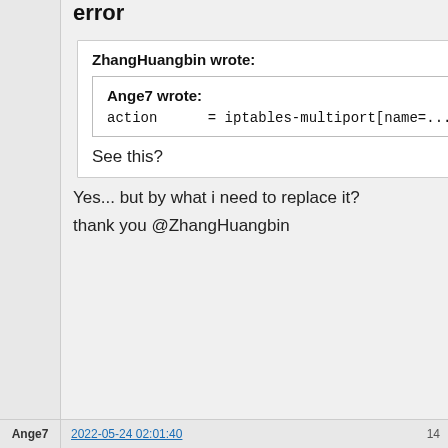error
ZhangHuangbin wrote:
Ange7 wrote:
action      = iptables-multiport[name=...
See this?
Yes... but by what i need to replace it?
thank you @ZhangHuangbin
Ange7   2022-05-24 02:01:40